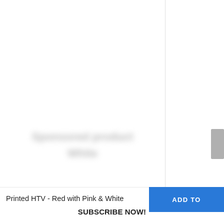[Figure (screenshot): Product listing page showing two product cards for Siser EasyWeed heat transfer vinyl. Left card shows '5 Yard Roll of 12" Siser EasyWeed - White' with 5 stars and 3 reviews. Right card partially visible shows 'Siser EasyW... Roll' with star ratings. Navigation arrows visible. Bottom bar shows 'Printed HTV - Red with Pink & White' text, an 'ADD TO' blue button, and 'SUBSCRIBE NOW!' text.]
SISER EW1
5 Yard Roll of 12" Siser EasyWeed - White
(3)
SISER EW1
Siser EasyW... Roll
Printed HTV - Red with Pink & White
ADD TO
SUBSCRIBE NOW!